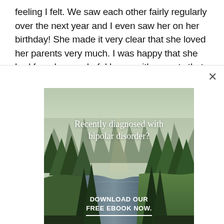feeling I felt. We saw each other fairly regularly over the next year and I even saw her on her birthday! She made it very clear that she loved her parents very much. I was happy that she had found a wonderful home with parents that adored her. It would have been nice if we could have been friends, but I think that was asking too much of the
[Figure (photo): Advertisement banner showing a forest/nature scene with a river path through evergreen trees. Text overlay reads 'Recently diagnosed with bipolar disorder? DOWNLOAD OUR FREE EBOOK NOW.' with a horizontal underline beneath the CTA text.]
advertisement
...